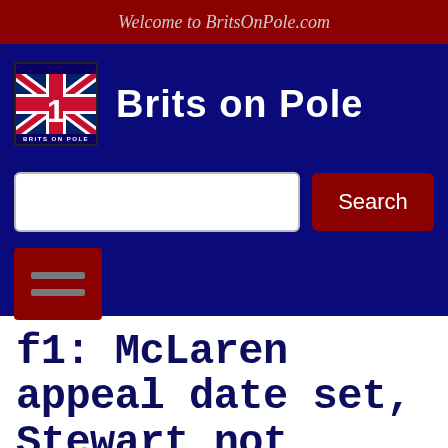Welcome to BritsOnPole.com
Brits on Pole
[Figure (logo): Brits on Pole logo with British Union Jack flag and text BRITS ON POLE]
Search
f1: McLaren appeal date set, Stewart not optimistic about their